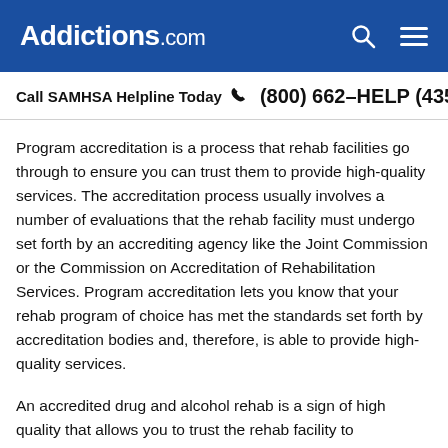Addictions.com
Call SAMHSA Helpline Today  (800) 662-HELP (4357)
Program accreditation is a process that rehab facilities go through to ensure you can trust them to provide high-quality services. The accreditation process usually involves a number of evaluations that the rehab facility must undergo set forth by an accrediting agency like the Joint Commission or the Commission on Accreditation of Rehabilitation Services. Program accreditation lets you know that your rehab program of choice has met the standards set forth by accreditation bodies and, therefore, is able to provide high-quality services.
An accredited drug and alcohol rehab is a sign of high quality that allows you to trust the rehab facility to